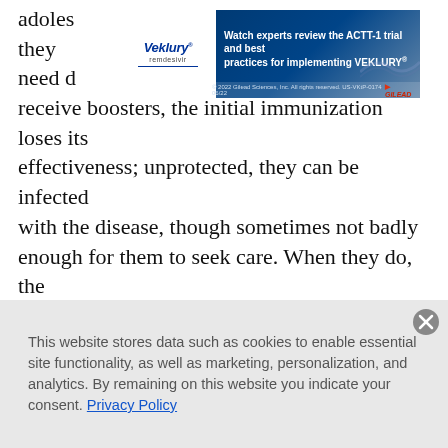adolescents and the care they need don't receive boosters, the initial immunization loses its effectiveness; unprotected, they can be infected with the disease, though sometimes not badly enough for them to seek care. When they do, the diagnosis is often community-acquired mild pneumonia or a more traditional bronchitis. Either by accident or because the physician has given it thought, those illnesses are treated with a macrolide drug, which is also—coincidentally and serendipitously—the drug of choice for pertussis. But many remain carriers because they are not accurately diagnosed or never seek care.
[Figure (other): Veklury (remdesivir) advertisement banner: 'Watch experts review the ACTT-1 trial and best practices for implementing VEKLURY®'. Gilead branding. © 2022 Gilead Sciences, Inc. All rights reserved. US-VKtP-0174 06/22]
This website stores data such as cookies to enable essential site functionality, as well as marketing, personalization, and analytics. By remaining on this website you indicate your consent. Privacy Policy